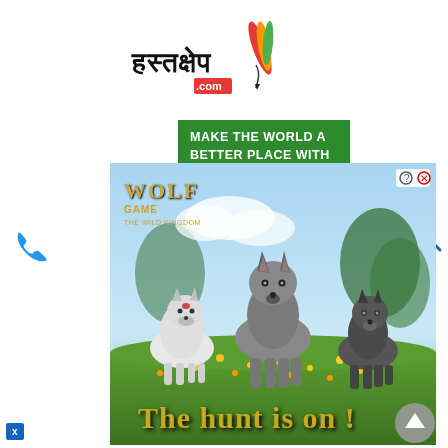[Figure (logo): Hastakshep.com logo with Hindi text and feather/pen icon with colorful design]
MAKE THE WORLD A BETTER PLACE WITH HASTAKSHEP NEWS
[Figure (illustration): Wolf Game: The Wild Kingdom advertisement banner showing three wolves in a meadow with yellow flowers. Text reads 'The hunt is on!' in gold letters. Logo in top left corner.]
[Figure (other): Blue phone icon on left side]
[Figure (other): Blue search/magnifying glass icon on right side]
[Figure (other): Gray scroll-to-top button]
[Figure (other): Blue X/close button in bottom left]